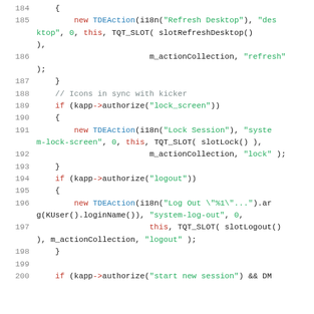[Figure (screenshot): Source code viewer showing C++ code lines 184-200 with syntax highlighting. Line numbers in gray, keywords in red, class names in blue, strings in green, comments in gray.]